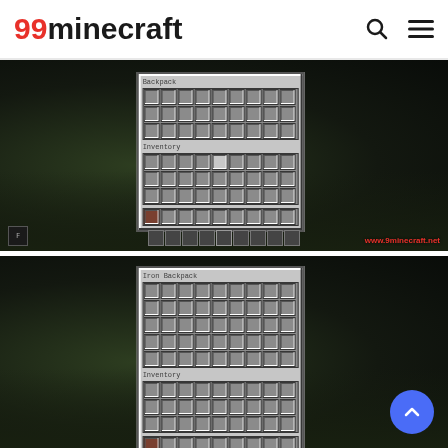99minecraft
[Figure (screenshot): Minecraft screenshot showing a Backpack inventory UI window open in a dark nighttime scene. The UI shows a 'Backpack' section with a 9x3 grid, an 'Inventory' section with a 9x3 grid and one highlighted slot, and a hotbar row. A brown item is in the first hotbar slot. Watermark reads www.9minecraft.net]
[Figure (screenshot): Minecraft screenshot showing an 'Iron Backpack' inventory UI window open in a dark nighttime scene. The UI shows an 'Iron Backpack' section with a 9x5 grid and an 'Inventory' section with a 9x3 grid. A scroll-to-top blue circular button is visible in the bottom right.]